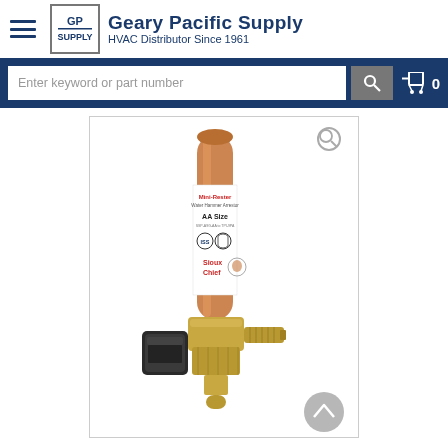Geary Pacific Supply — HVAC Distributor Since 1961
[Figure (screenshot): Search bar with 'Enter keyword or part number' placeholder, search button, and shopping cart icon with count 0]
[Figure (photo): Product photo: Sioux Chief Mini-Rester water hammer arrestor, AA Size, copper tube with brass valve body and black plastic cap, mounted on white background inside bordered product image frame]